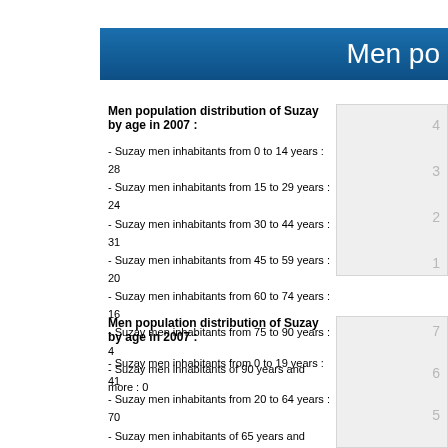Men po
Men population distribution of Suzay by age in 2007 :
- Suzay men inhabitants from 0 to 14 years : 28
- Suzay men inhabitants from 15 to 29 years : 24
- Suzay men inhabitants from 30 to 44 years : 31
- Suzay men inhabitants from 45 to 59 years : 20
- Suzay men inhabitants from 60 to 74 years : 16
- Suzay men inhabitants from 75 to 90 years : 4
- Suzay men inhabitants of 90 years and more : 0
Men population distribution of Suzay by age in 2007 :
- Suzay men inhabitants from 0 to 19 years : 41
- Suzay men inhabitants from 20 to 64 years : 70
- Suzay men inhabitants of 65 years and more : 12